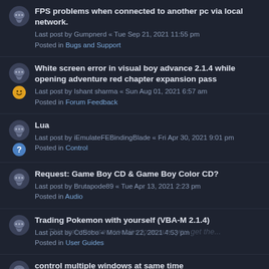FPS problems when connected to another pc via local network.
Last post by Gumpnerd « Tue Sep 21, 2021 11:55 pm
Posted in Bugs and Support
White screen error in visual boy advance 2.1.4 while opening adventure red chapter expansion pass
Last post by Ishant sharma « Sun Aug 01, 2021 6:57 am
Posted in Forum Feedback
Lua
Last post by iEmulateFEBindingBlade « Fri Apr 30, 2021 9:01 pm
Posted in Control
Request: Game Boy CD & Game Boy Color CD?
Last post by Brutapode89 « Tue Apr 13, 2021 2:23 pm
Posted in Audio
Trading Pokemon with yourself (VBA-M 2.1.4)
Last post by CdBobo « Mon Mar 22, 2021 4:53 pm
Posted in User Guides
control multiple windows at same time
Last post by ctn_andrade « Wed Mar 17, 2021 5:18 pm
Posted in GUI
GBC and GB Roms Not running for MAC version?
Last post by nirujan101 « Sat Feb 27, 2021 1:12 pm
Posted in User Guides
How to load NOSGBA battery save in VBA-M2...